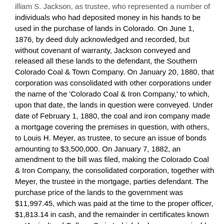illiam S. Jackson, as trustee, who represented a number of individuals who had deposited money in his hands to be used in the purchase of lands in Colorado. On June 1, 1876, by deed duly acknowledged and recorded, but without covenant of warranty, Jackson conveyed and released all these lands to the defendant, the Southern Colorado Coal & Town Company. On January 20, 1880, that corporation was consolidated with other corporations under the name of the 'Colorado Coal & Iron Company,' to which, upon that date, the lands in question were conveyed. Under date of February 1, 1880, the coal and iron company made a mortgage covering the premises in question, with others, to Louis H. Meyer, as trustee, to secure an issue of bonds amounting to $3,500,000. On January 7, 1882, an amendment to the bill was filed, making the Colorado Coal & Iron Company, the consolidated corporation, together with Meyer, the trustee in the mortgage, parties defendant. The purchase price of the lands to the government was $11,997.45, which was paid at the time to the proper officer, $1,813.14 in cash, and the remainder in certificates known as 'Agricultural College Scrip,' which by law was receivable for that purpose.
It is charged in the bill that these patents were procured by means of a fraudulent conspiracy entered into by and between Irving W.